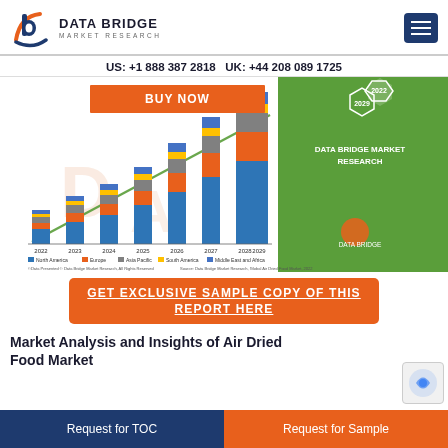DATA BRIDGE MARKET RESEARCH | US: +1 888 387 2818 UK: +44 208 089 1725
[Figure (stacked-bar-chart): Stacked bar chart showing regional market data from 2022 to 2029 with an upward trend line overlay.]
BUY NOW
GET EXCLUSIVE SAMPLE COPY OF THIS REPORT HERE
Market Analysis and Insights of Air Dried Food Market
Request for TOC | Request for Sample